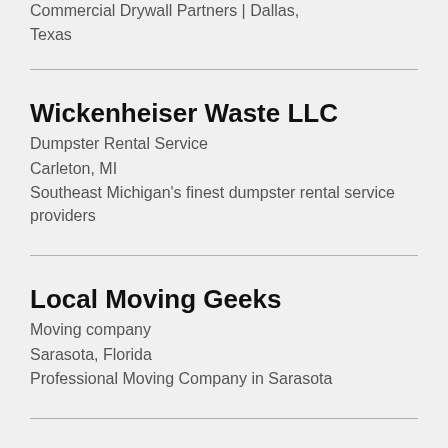Commercial Drywall Partners | Dallas, Texas
Wickenheiser Waste LLC
Dumpster Rental Service
Carleton, MI
Southeast Michigan's finest dumpster rental service providers
Local Moving Geeks
Moving company
Sarasota, Florida
Professional Moving Company in Sarasota